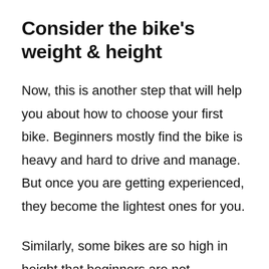Consider the bike's weight & height
Now, this is another step that will help you about how to choose your first bike. Beginners mostly find the bike is heavy and hard to drive and manage. But once you are getting experienced, they become the lightest ones for you.
Similarly, some bikes are so high in height that beginners are not